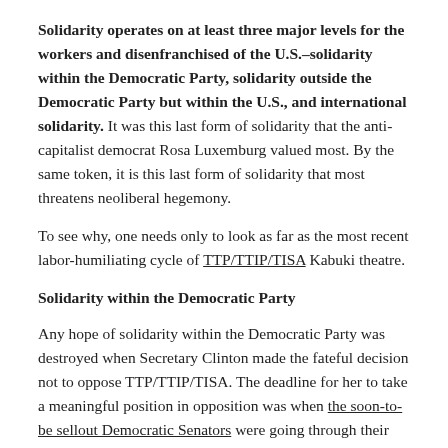Solidarity operates on at least three major levels for the workers and disenfranchised of the U.S.–solidarity within the Democratic Party, solidarity outside the Democratic Party but within the U.S., and international solidarity. It was this last form of solidarity that the anti-capitalist democrat Rosa Luxemburg valued most. By the same token, it is this last form of solidarity that most threatens neoliberal hegemony.
To see why, one needs only to look as far as the most recent labor-humiliating cycle of TTP/TTIP/TISA Kabuki theatre.
Solidarity within the Democratic Party
Any hope of solidarity within the Democratic Party was destroyed when Secretary Clinton made the fateful decision not to oppose TTP/TTIP/TISA. The deadline for her to take a meaningful position in opposition was when the soon-to-be sellout Democratic Senators were going through their final Kabuki acting of being "pressured" by President Obama to allow passage from the Senate of fast track legislation.